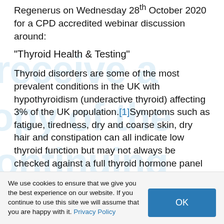Regenerus on Wednesday 28th October 2020 for a CPD accredited webinar discussion around:
“Thyroid Health & Testing”
Thyroid disorders are some of the most prevalent conditions in the UK with hypothyroidism (underactive thyroid) affecting 3% of the UK population.[1]Symptoms such as fatigue, tiredness, dry and coarse skin, dry hair and constipation can all indicate low thyroid function but may not always be checked against a full thyroid hormone panel through primary medical practice.
We use cookies to ensure that we give you the best experience on our website. If you continue to use this site we will assume that you are happy with it. Privacy Policy